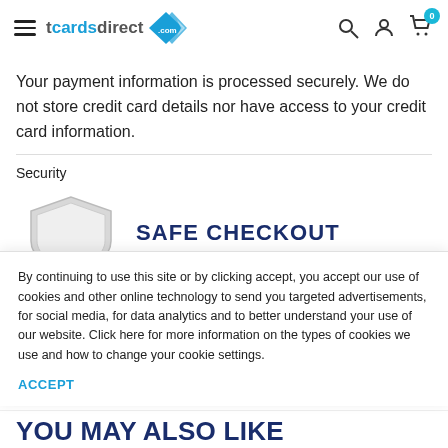tcardsdirect.com
Your payment information is processed securely. We do not store credit card details nor have access to your credit card information.
Security
[Figure (illustration): Shield icon with 'SAFE CHECKOUT' text partially visible]
By continuing to use this site or by clicking accept, you accept our use of cookies and other online technology to send you targeted advertisements, for social media, for data analytics and to better understand your use of our website. Click here for more information on the types of cookies we use and how to change your cookie settings.
ACCEPT
YOU MAY ALSO LIKE